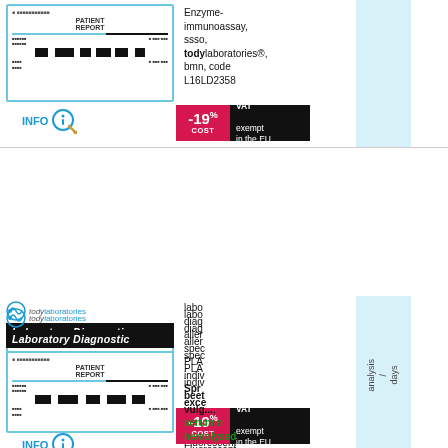[Figure (illustration): Tody Laboratories product card row 1 - partial view: report card image and INFO magnifier button]
Enzyme-immunoassay, ssso, tody laboratories®, bmn, code L16LD2358
[Figure (infographic): -19% COST VAT exempt in the EU badge]
[Figure (illustration): Tody Laboratories Laboratory Diagnostic product card row 2 with INFO magnifier button]
laboratory diagnostic allergen specific PLASMA individual Spring / excess serum non-hemolysed, Fluorescent Enzyme-immunoassay, ssso, tody laboratories®, bmn, code L16LD2338
[Figure (infographic): -19% COST VAT exempt in the EU badge]
[Figure (illustration): Tody Laboratories Laboratory Diagnostic product card row 3 with partial view]
laboratory diagnostic allergen specific PLASMA individual beet vulgaris, serum non-hemolysed, Fluorescent Enzyme-immunoassay